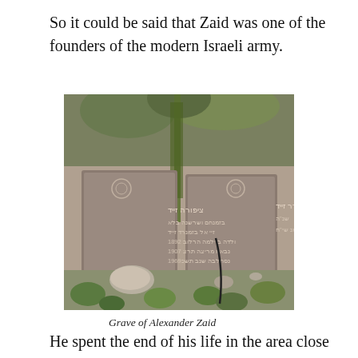So it could be said that Zaid was one of the founders of the modern Israeli army.
[Figure (photo): Photograph of two grave markers (headstones) with Hebrew inscriptions for Alexander Zaid and another family member, surrounded by rocks and green plants/weeds]
Grave of Alexander Zaid
He spent the end of his life in the area close to